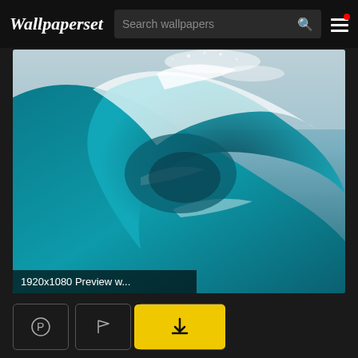Wallpaperset — Search wallpapers
[Figure (screenshot): Large ocean wave curling from inside the barrel, turquoise water, white foam and spray, shoreline visible in background]
1920x1080 Preview w...
♡ 91
[Figure (photo): Blue sky with bright sun rays and wispy clouds, partial ocean wave visible on right edge]